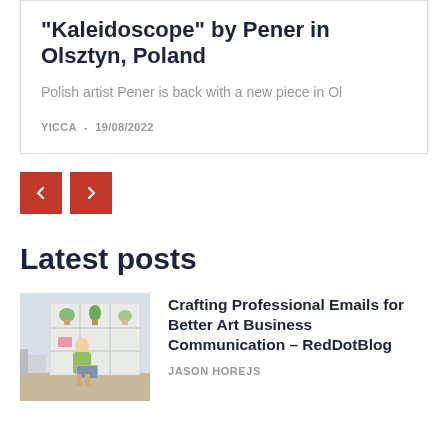"Kaleidoscope" by Pener in Olsztyn, Poland
Polish artist Pener is back with a new piece in Ol
YICCA  -  19/08/2022
[Figure (other): Navigation previous and next buttons (red squares with chevron arrows)]
Latest posts
[Figure (photo): Person sitting at a desk in a bright home office with white shelving unit and plants]
Crafting Professional Emails for Better Art Business Communication – RedDotBlog
JASON HOREJS